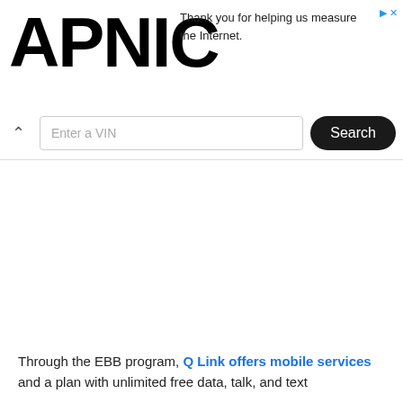APNIC — Thank you for helping us measure the Internet.
[Figure (screenshot): VIN search bar with upward chevron, text input placeholder 'Enter a VIN', and a black rounded 'Search' button]
Through the EBB program, Q Link offers mobile services and a plan with unlimited free data, talk, and text